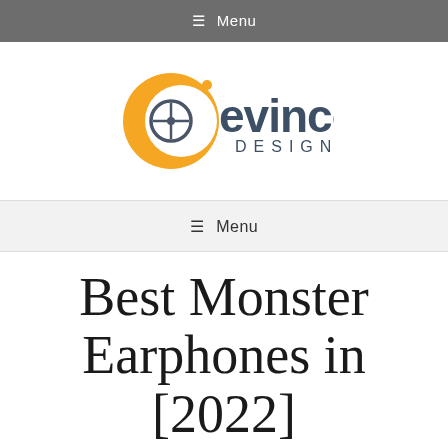☰ Menu
[Figure (logo): Evinco Design logo — yellow/orange crescent 'e' icon with crosshair circle, dark gray 'evinco' text, smaller 'DESIGN' text below]
☰ Menu
Best Monster Earphones in [2022]